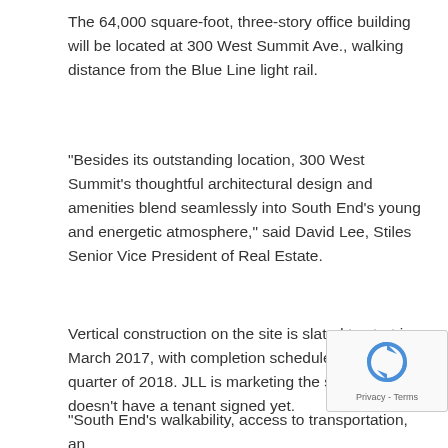The 64,000 square-foot, three-story office building will be located at 300 West Summit Ave., walking distance from the Blue Line light rail.
"Besides its outstanding location, 300 West Summit's thoughtful architectural design and amenities blend seamlessly into South End's young and energetic atmosphere," said David Lee, Stiles Senior Vice President of Real Estate.
Vertical construction on the site is slated to start in March 2017, with completion scheduled for the first quarter of 2018. JLL is marketing the space, which doesn't have a tenant signed yet.
"South End's walkability, access to transportation, and luxury residential living create the quintessential urban
[Figure (other): reCAPTCHA logo overlay in bottom right corner with Privacy - Terms text]